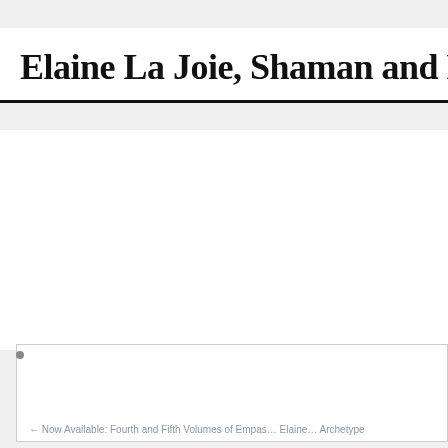Elaine La Joie, Shaman and Em…
Welcome   About Elaine   Blog   Work With Elaine   Shop   Res…
Privacy & Cookies: This site uses cookies. By continuing to use this website, you agree to their use. Find out more here: Privacy & Cookie Policy
Close and accept
← Now Available: Fourth and Fifth Volumes of Empas… Elaine… Archetype